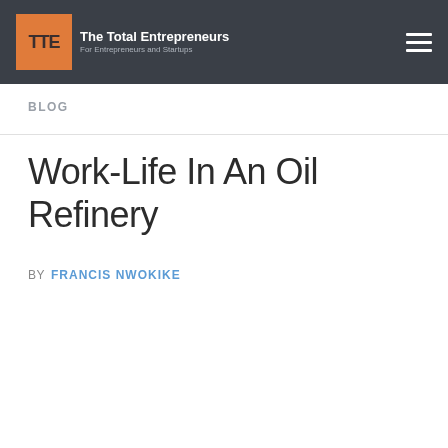TTE The Total Entrepreneurs For Entrepreneurs and Startups
BLOG
Work-Life In An Oil Refinery
BY FRANCIS NWOKIKE